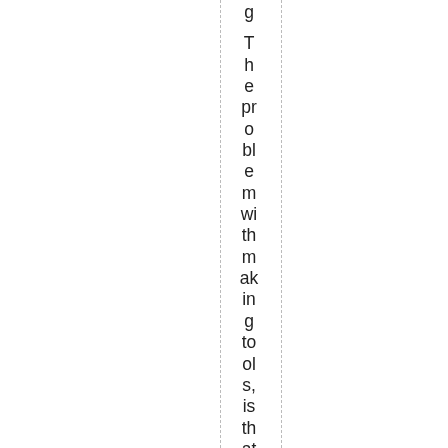g The problem with making tools, is that eventually you i